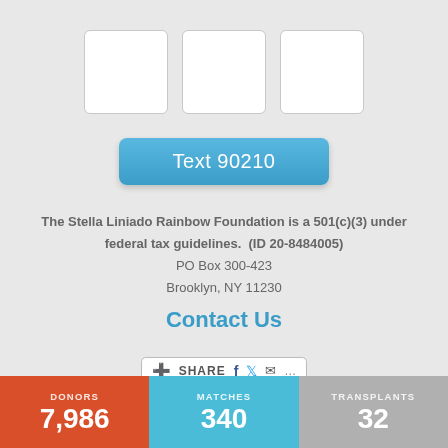[Figure (other): Three white placeholder image boxes with light grey borders arranged horizontally]
Text 90210
The Stella Liniado Rainbow Foundation is a 501(c)(3) under federal tax guidelines. (ID 20-8484005)
PO Box 300-423
Brooklyn, NY 11230
Contact Us
[Figure (other): Share bar with plus icon, SHARE text, Facebook icon, Twitter icon, mail icon, and dots]
Donate
| DONORS | MATCHES | TRANSPLANTS |
| --- | --- | --- |
| 7,986 | 340 | 32 |